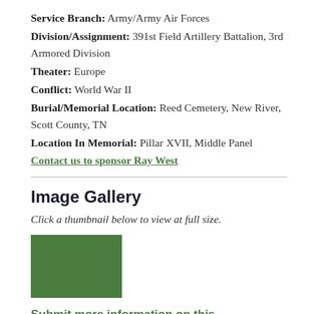Service Branch: Army/Army Air Forces
Division/Assignment: 391st Field Artillery Battalion, 3rd Armored Division
Theater: Europe
Conflict: World War II
Burial/Memorial Location: Reed Cemetery, New River, Scott County, TN
Location In Memorial: Pillar XVII, Middle Panel
Contact us to sponsor Ray West
Image Gallery
Click a thumbnail below to view at full size.
[Figure (photo): Green thumbnail image placeholder]
Submit more information on this